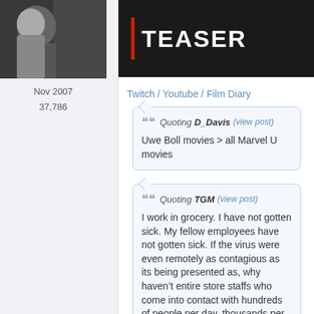[Figure (screenshot): Dark teaser banner image with red vertical bar and white bold text reading TEASER]
Nov 2007
37,786
Twitch / Youtube / Film Diary
Quoting D_Davis (view post)
Uwe Boll movies > all Marvel U movies
Quoting TGM (view post)
I work in grocery. I have not gotten sick. My fellow employees have not gotten sick. If the virus were even remotely as contagious as its being presented as, why haven't entire store staffs who come into contact with hundreds of people per day, thousands per week, all falling ill in mass nationwide?